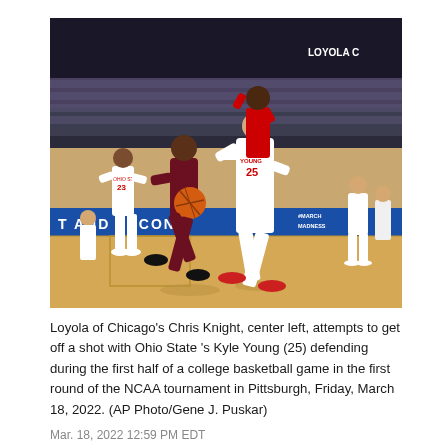[Figure (photo): Basketball game photo showing Loyola of Chicago's Chris Knight driving to the basket with Ohio State's Kyle Young (25) defending, with other players visible and a packed arena in the background. NCAA March Madness banner visible on court. Players wearing Ohio State red/white and Loyola maroon/gold uniforms.]
Loyola of Chicago's Chris Knight, center left, attempts to get off a shot with Ohio State 's Kyle Young (25) defending during the first half of a college basketball game in the first round of the NCAA tournament in Pittsburgh, Friday, March 18, 2022. (AP Photo/Gene J. Puskar)
Mar. 18, 2022 12:59 PM EDT